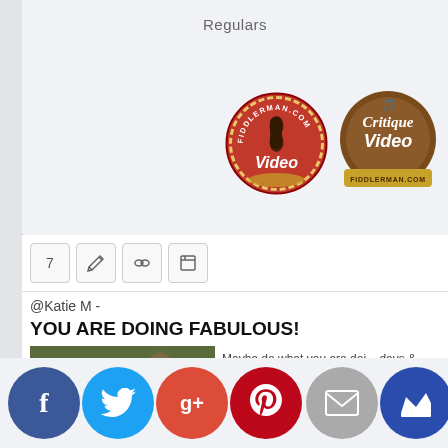Regulars
[Figure (logo): Two circular badges: Fiddlerman.com Video badge (red with violin) and Critique Video Fiddlerman.com badge (brown barrel style)]
@Katie M -
YOU ARE DOING FABULOUS!
[Figure (photo): Photo of a group of people outdoors with text overlay reading GREAT JOB!]
Maybe do what you are doi... days & periodically check y...
- Emily
[Figure (other): Social sharing buttons row: Facebook (blue), Twitter (cyan), Google+ (red-orange), Pinterest (red), mail (gray), crown (dark blue)]